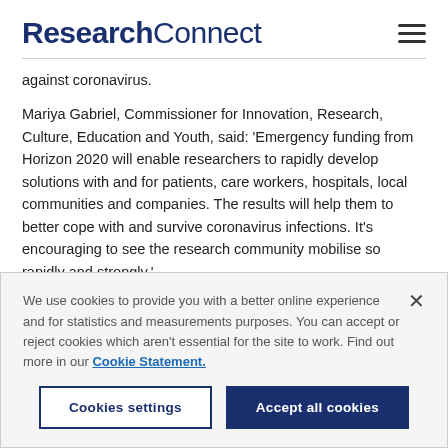ResearchConnect
against coronavirus.
Mariya Gabriel, Commissioner for Innovation, Research, Culture, Education and Youth, said: ‘Emergency funding from Horizon 2020 will enable researchers to rapidly develop solutions with and for patients, care workers, hospitals, local communities and companies. The results will help them to better cope with and survive coronavirus infections. It’s encouraging to see the research community mobilise so rapidly and strongly.’
We use cookies to provide you with a better online experience and for statistics and measurements purposes. You can accept or reject cookies which aren’t essential for the site to work. Find out more in our Cookie Statement.